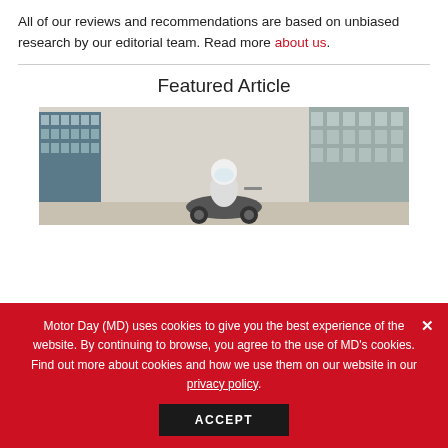All of our reviews and recommendations are based on unbiased research by our editorial team. Read more about us.
Featured Article
[Figure (photo): A woman riding a scooter wearing a white helmet, with city buildings in the background.]
Motor Day (MD) uses cookies to give you the best experience of the website. By continuing to browse, you agree to the use of MD's cookies. Find out more about cookies and how we use them on our website in our privacy policy.